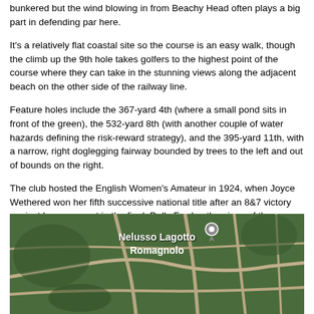bunkered but the wind blowing in from Beachy Head often plays a big part in defending par here.
It's a relatively flat coastal site so the course is an easy walk, though the climb up the 9th hole takes golfers to the highest point of the course where they can take in the stunning views along the adjacent beach on the other side of the railway line.
Feature holes include the 367-yard 4th (where a small pond sits in front of the green), the 532-yard 8th (with another couple of water hazards defining the risk-reward strategy), and the 395-yard 11th, with a narrow, right doglegging fairway bounded by trees to the left and out of bounds on the right.
The club hosted the English Women's Amateur in 1924, when Joyce Wethered won her fifth successive national title after an 8&7 victory against her opponent in the final, Dolly Fowler, the niece of the architect.
If the above article is inaccurate, please let us know by clicking here
[Figure (map): Aerial/satellite map showing area labeled 'Nelusso Lagotto Romagnolo' with a location pin marker, showing roads and green landscape.]